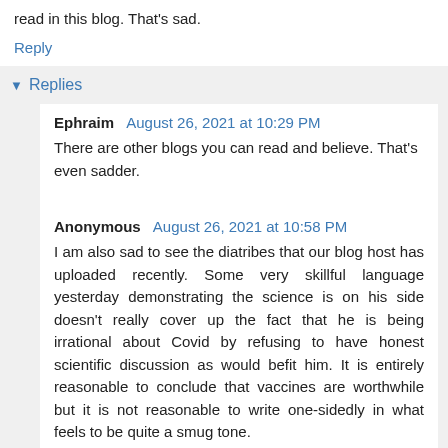read in this blog. That's sad.
Reply
Replies
Ephraim  August 26, 2021 at 10:29 PM
There are other blogs you can read and believe. That's even sadder.
Anonymous  August 26, 2021 at 10:58 PM
I am also sad to see the diatribes that our blog host has uploaded recently. Some very skillful language yesterday demonstrating the science is on his side doesn't really cover up the fact that he is being irrational about Covid by refusing to have honest scientific discussion as would befit him. It is entirely reasonable to conclude that vaccines are worthwhile but it is not reasonable to write one-sidedly in what feels to be quite a smug tone.